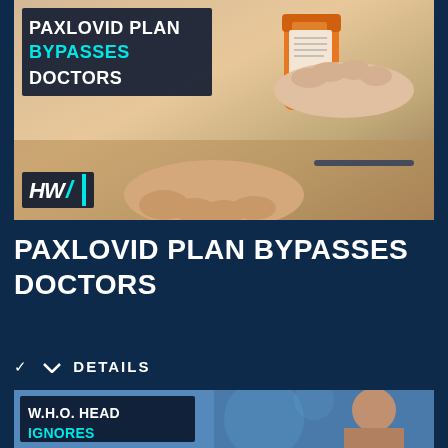[Figure (photo): Thumbnail image showing hands exchanging a prescription pill bottle, with overlay text 'PAXLOVID PLAN BYPASSES DOCTORS' and HW logo in bottom left corner]
PAXLOVID PLAN BYPASSES DOCTORS
DETAILS
[Figure (photo): Thumbnail image of a man (W.H.O. head) with overlay text 'W.H.O. HEAD IGNORES']